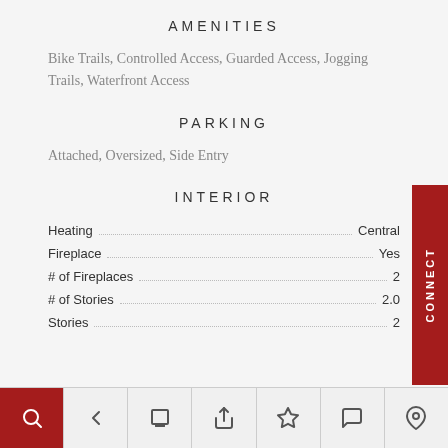AMENITIES
Bike Trails, Controlled Access, Guarded Access, Jogging Trails, Waterfront Access
PARKING
Attached, Oversized, Side Entry
INTERIOR
| Field | Value |
| --- | --- |
| Heating | Central |
| Fireplace | Yes |
| # of Fireplaces | 2 |
| # of Stories | 2.0 |
| Stories | 2 |